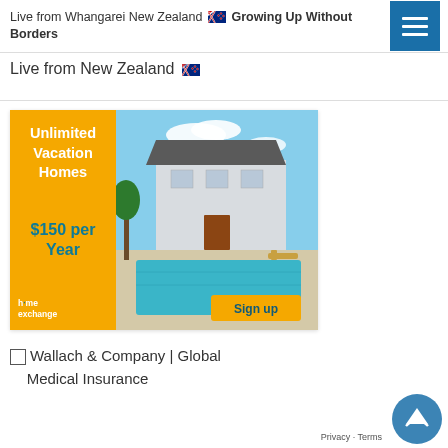Live from Whangarei New Zealand 🇳🇿 Growing Up Without Borders
Live from New Zealand 🇳🇿
[Figure (illustration): HomeExchange advertisement banner showing a luxury vacation home with pool. Left orange panel reads: Unlimited Vacation Homes $150 per Year. Right side shows photo of white luxury house with blue pool. Sign up button in orange at bottom right. h-me exchange logo at bottom left.]
[Wallach & Company | Global Medical Insurance